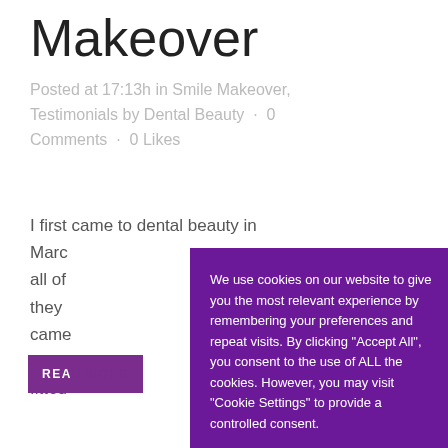Makeover
Posted at 17:13h in Smile Makeover, Testimonials by Dental Beauty · 0 Comments · 0 Likes
I first came to dental beauty in Marc... all of ... they ... came ... them ... fitted
[Figure (screenshot): Cookie consent popup overlay with purple background. Text: 'We use cookies on our website to give you the most relevant experience by remembering your preferences and repeat visits. By clicking "Accept All", you consent to the use of ALL the cookies. However, you may visit "Cookie Settings" to provide a controlled consent.' Buttons: 'Cookie Settings' and 'Accept All']
[Figure (infographic): Social media icons bar on right side: Facebook (blue), YouTube (red), Instagram (pink), TikTok (black)]
[Figure (illustration): Purple circular chat bubble icon in bottom right]